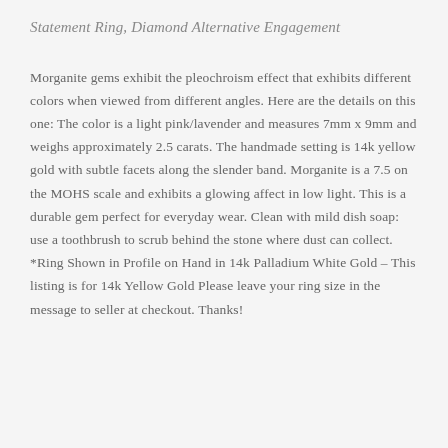Statement Ring, Diamond Alternative Engagement
Morganite gems exhibit the pleochroism effect that exhibits different colors when viewed from different angles. Here are the details on this one: The color is a light pink/lavender and measures 7mm x 9mm and weighs approximately 2.5 carats. The handmade setting is 14k yellow gold with subtle facets along the slender band. Morganite is a 7.5 on the MOHS scale and exhibits a glowing affect in low light. This is a durable gem perfect for everyday wear. Clean with mild dish soap: use a toothbrush to scrub behind the stone where dust can collect. *Ring Shown in Profile on Hand in 14k Palladium White Gold – This listing is for 14k Yellow Gold Please leave your ring size in the message to seller at checkout. Thanks!